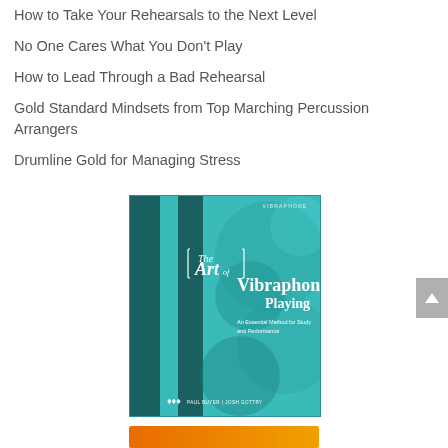How to Take Your Rehearsals to the Next Level
No One Cares What You Don't Play
How to Lead Through a Bad Rehearsal
Gold Standard Mindsets from Top Marching Percussion Arrangers
Drumline Gold for Managing Stress
[Figure (photo): Book cover for 'The Art of Vibraphone Playing: An Essential Method for Study and Performance' by Paul Buyer and Josh Gottry. Teal/turquoise cover with circular vibraphone bar shapes and bold white text.]
[Figure (other): Orange/gradient button at bottom of page]